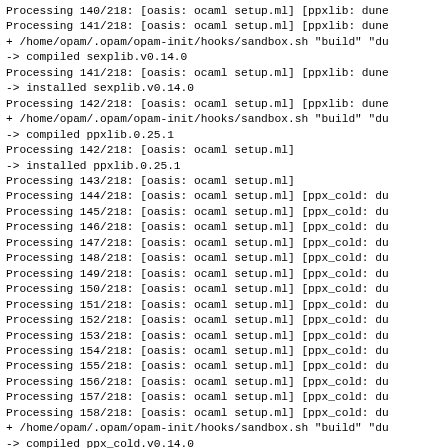Processing 140/218: [oasis: ocaml setup.ml] [ppxlib: dune
Processing 141/218: [oasis: ocaml setup.ml] [ppxlib: dune
+ /home/opam/.opam/opam-init/hooks/sandbox.sh "build" "du
-> compiled  sexplib.v0.14.0
Processing 141/218: [oasis: ocaml setup.ml] [ppxlib: dune
-> installed sexplib.v0.14.0
Processing 142/218: [oasis: ocaml setup.ml] [ppxlib: dune
+ /home/opam/.opam/opam-init/hooks/sandbox.sh "build" "du
-> compiled  ppxlib.0.25.1
Processing 142/218: [oasis: ocaml setup.ml]
-> installed ppxlib.0.25.1
Processing 143/218: [oasis: ocaml setup.ml]
Processing 144/218: [oasis: ocaml setup.ml] [ppx_cold: du
Processing 145/218: [oasis: ocaml setup.ml] [ppx_cold: du
Processing 146/218: [oasis: ocaml setup.ml] [ppx_cold: du
Processing 147/218: [oasis: ocaml setup.ml] [ppx_cold: du
Processing 148/218: [oasis: ocaml setup.ml] [ppx_cold: du
Processing 149/218: [oasis: ocaml setup.ml] [ppx_cold: du
Processing 150/218: [oasis: ocaml setup.ml] [ppx_cold: du
Processing 151/218: [oasis: ocaml setup.ml] [ppx_cold: du
Processing 152/218: [oasis: ocaml setup.ml] [ppx_cold: du
Processing 153/218: [oasis: ocaml setup.ml] [ppx_cold: du
Processing 154/218: [oasis: ocaml setup.ml] [ppx_cold: du
Processing 155/218: [oasis: ocaml setup.ml] [ppx_cold: du
Processing 156/218: [oasis: ocaml setup.ml] [ppx_cold: du
Processing 157/218: [oasis: ocaml setup.ml] [ppx_cold: du
Processing 158/218: [oasis: ocaml setup.ml] [ppx_cold: du
+ /home/opam/.opam/opam-init/hooks/sandbox.sh "build" "du
-> compiled  ppx_cold.v0.14.0
Processing 158/218: [oasis: ocaml setup.ml] [ppx_compare